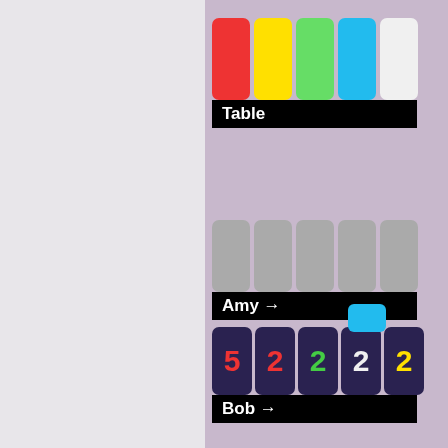[Figure (illustration): Table section with 5 colored cards (red, yellow, green, blue, white) with a black label bar reading 'Table']
[Figure (illustration): Amy's hand with 5 gray face-down cards and a black label bar reading 'Amy →']
[Figure (illustration): Bob's hand with a blue clue token above the 3rd card, showing dark cards with numbers 5(red), 2(red), 2(green), 2(white), 2(yellow), and a black label bar reading 'Bob →']
[Figure (illustration): Cat's hand with dark cards showing numbers 1(blue), 5(yellow), 3(cyan), 1(white), 2(yellow), and a black label bar reading 'Cat →']
Amy gives a blue [blue square] clue to Bob.